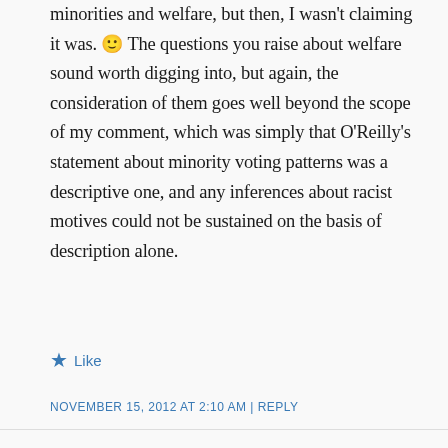minorities and welfare, but then, I wasn't claiming it was. 🙂 The questions you raise about welfare sound worth digging into, but again, the consideration of them goes well beyond the scope of my comment, which was simply that O'Reilly's statement about minority voting patterns was a descriptive one, and any inferences about racist motives could not be sustained on the basis of description alone.
Like
NOVEMBER 15, 2012 AT 2:10 AM | REPLY